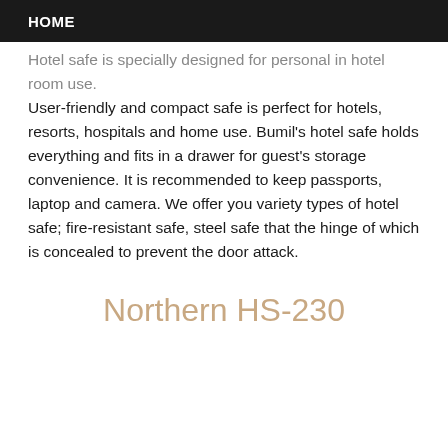HOME
Hotel safe is specially designed for personal in hotel room use. User-friendly and compact safe is perfect for hotels, resorts, hospitals and home use. Bumil's hotel safe holds everything and fits in a drawer for guest's storage convenience. It is recommended to keep passports, laptop and camera. We offer you variety types of hotel safe; fire-resistant safe, steel safe that the hinge of which is concealed to prevent the door attack.
Northern HS-230